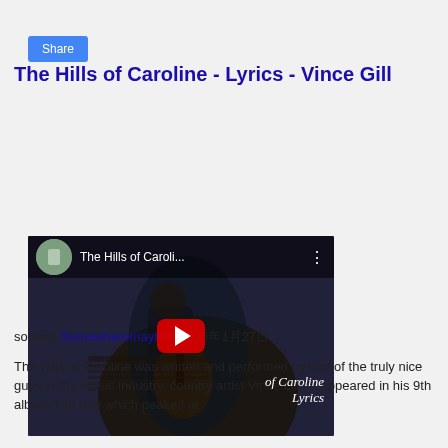[Figure (screenshot): Share button - blue rounded rectangle with white text]
The Hills of Caroline - Lyrics - Vince Gill
[Figure (screenshot): YouTube video embed showing a man playing guitar, with title 'The Hills of Caroli...' and a red play button in the center. Text overlay reads 'of Caroline' and 'Lyrics']
source: Somewheremaybe  2016年1月27日
The Hills of Caroline was written and performed by one of the truly nice guys in the music industry, country artist Vince Gill. It appeared in his 9th album The Key which peaked at